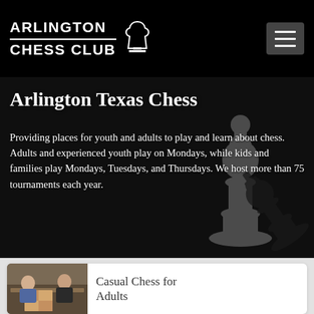ARLINGTON CHESS CLUB
Arlington Texas Chess
Providing places for youth and adults to play and learn about chess. Adults and experienced youth play on Mondays, while kids and families play Mondays, Tuesdays, and Thursdays. We host more than 75 tournaments each year.
[Figure (photo): People playing chess at a table, casual setting]
Casual Chess for Adults